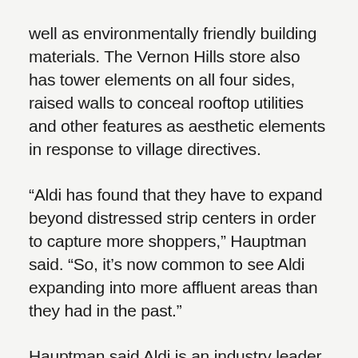well as environmentally friendly building materials. The Vernon Hills store also has tower elements on all four sides, raised walls to conceal rooftop utilities and other features as aesthetic elements in response to village directives.
“Aldi has found that they have to expand beyond distressed strip centers in order to capture more shoppers,” Hauptman said. “So, it’s now common to see Aldi expanding into more affluent areas than they had in the past.”
Hauptman said Aldi is an industry leader in product innovation and is doubling down on bring new, unique products to market.